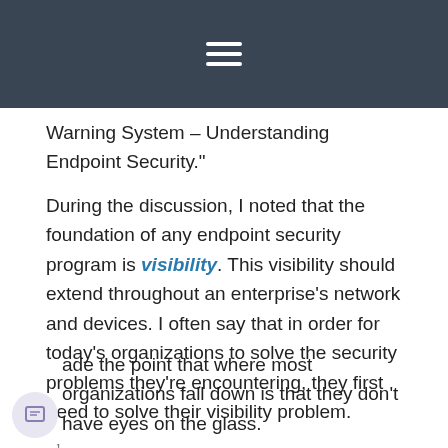[hamburger menu icon]
Warning System – Understanding Endpoint Security."
During the discussion, I noted that the foundation of any endpoint security program is visibility. This visibility should extend throughout an enterprise's network and devices. I often say that in order for today's organizations to solve the security problems they're encountering, they first need to solve their visibility problem.
ade the point that where most organizations fall down is that they don't have eyes on the glass.